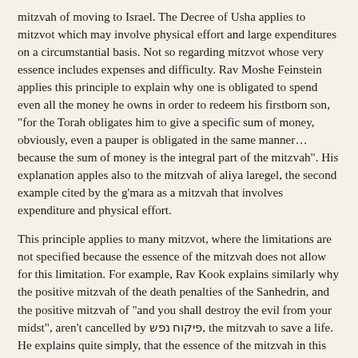mitzvah of moving to Israel. The Decree of Usha applies to mitzvot which may involve physical effort and large expenditures on a circumstantial basis. Not so regarding mitzvot whose very essence includes expenses and difficulty. Rav Moshe Feinstein applies this principle to explain why one is obligated to spend even all the money he owns in order to redeem his firstborn son, "for the Torah obligates him to give a specific sum of money, obviously, even a pauper is obligated in the same manner…because the sum of money is the integral part of the mitzvah". His explanation apples also to the mitzvah of aliya laregel, the second example cited by the g'mara as a mitzvah that involves expenditure and physical effort.
This principle applies to many mitzvot, where the limitations are not specified because the essence of the mitzvah does not allow for this limitation. For example, Rav Kook explains similarly why the positive mitzvah of the death penalties of the Sanhedrin, and the positive mitzvah of "and you shall destroy the evil from your midst", aren't cancelled by פיקוח נפש, the mitzvah to save a life. He explains quite simply, that the essence of the mitzvah in this case, is the putting to death. Likewise, if Re'uven lent someone more than 20% of his possessions before the sabbatical year, or if a